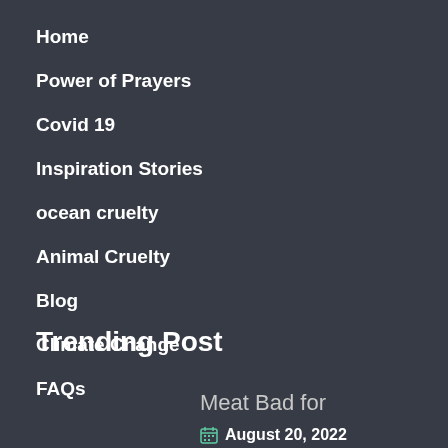Home
Power of Prayers
Covid 19
Inspiration Stories
ocean cruelty
Animal Cruelty
Blog
Climate Change
FAQs
Trending Post
Meat Bad for
August 20, 2022